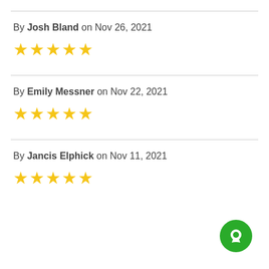By Josh Bland on Nov 26, 2021
[Figure (other): Five gold stars rating]
By Emily Messner on Nov 22, 2021
[Figure (other): Five gold stars rating]
By Jancis Elphick on Nov 11, 2021
[Figure (other): Five gold stars rating (partially visible)]
[Figure (other): Green circular chat button icon]